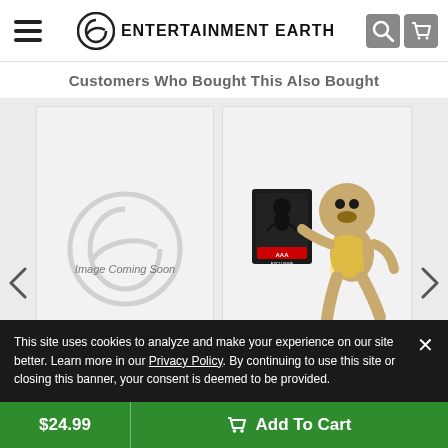Entertainment Earth
Customers Who Bought This Also Bought
[Figure (screenshot): Product card: The Nightmare Before Christmas Zero GITD HMBR Vinyl Figure with 'Image Coming Soon' placeholder]
The Nightmare Before Christmas Zero GITD HMBR Vinyl Figure
[Figure (photo): Product card: Spider-Man NWH Unmasked Black Suit Pop! Figure AAA Ani... with product image showing Spider-Man figure]
Spider-Man NWH Unmasked Black Suit Pop! Figure AAA Ani...
This site uses cookies to analyze and make your experience on our site better. Learn more in our Privacy Policy. By continuing to use this site or closing this banner, your consent is deemed to be provided.
$24.99
Add To Cart